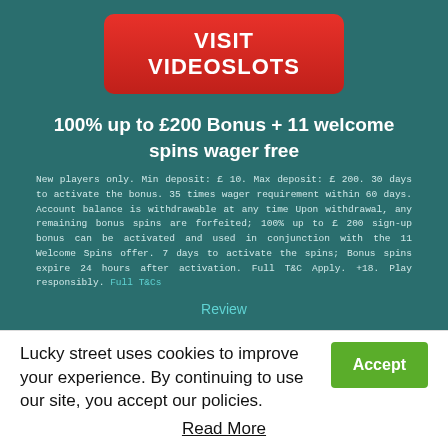[Figure (illustration): Red rounded-rectangle button with white bold text reading VISIT VIDEOSLOTS]
100% up to £200 Bonus + 11 welcome spins wager free
New players only. Min deposit: £ 10. Max deposit: £ 200. 30 days to activate the bonus. 35 times wager requirement within 60 days. Account balance is withdrawable at any time Upon withdrawal, any remaining bonus spins are forfeited; 100% up to £ 200 sign-up bonus can be activated and used in conjunction with the 11 Welcome Spins offer. 7 days to activate the spins; Bonus spins expire 24 hours after activation. Full T&C Apply. +18. Play responsibly. Full T&Cs
Review
Lucky street uses cookies to improve your experience. By continuing to use our site, you accept our policies.
Accept
Read More